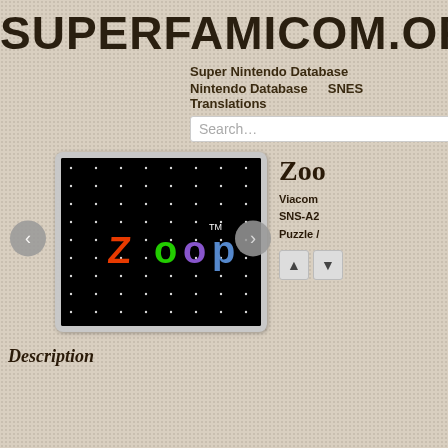SUPERFAMICOM.ORG
Super Nintendo Database
Nintendo Database   SNES Translations
Search...
[Figure (screenshot): Screenshot of the Zoop game title screen on SNES. Black background with white dot grid pattern and the colorful Zoop logo in red, green, and purple letters with TM mark.]
Zoo
Viacom
SNS-A2
Puzzle /
Description